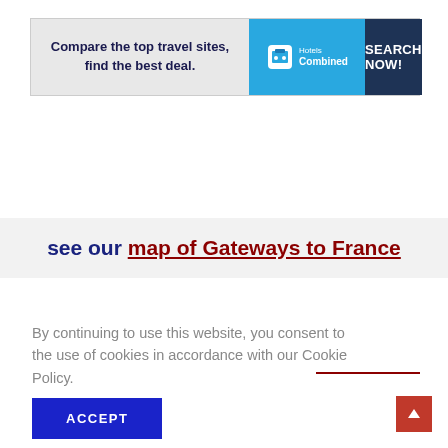[Figure (screenshot): HotelsCombined advertisement banner: grey left section with bold text 'Compare the top travel sites, find the best deal.', blue middle section with HotelsCombined logo and icon, dark navy right section with 'SEARCH NOW!' text]
see our map of Gateways to France
By continuing to use this website, you consent to the use of cookies in accordance with our Cookie Policy.
ACCEPT